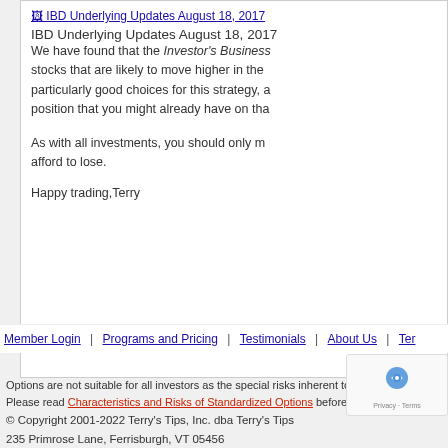[Figure (screenshot): Broken image placeholder for 'IBD Underlying Updates August 18, 2017']
IBD Underlying Updates August 18, 2017
We have found that the Investor's Business Daily (IBD) identifies stocks that are likely to move higher in the near term, making them particularly good choices for this strategy, and may replace a position that you might already have on that stock.
As with all investments, you should only make option trades with money you can afford to lose.
Happy trading,Terry
Member Login | Programs and Pricing | Testimonials | About Us | Ter...
Options are not suitable for all investors as the special risks inherent to o... Please read Characteristics and Risks of Standardized Options before i...
© Copyright 2001-2022 Terry's Tips, Inc. dba Terry's Tips
235 Primrose Lane, Ferrisburgh, VT 05456